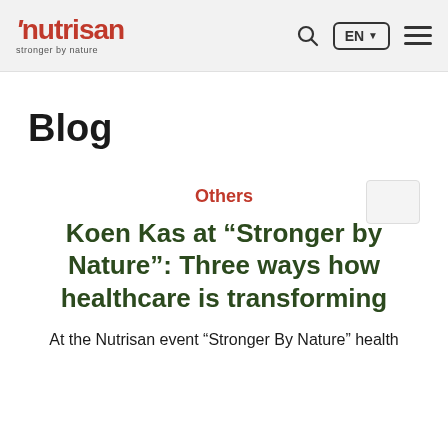nutrisan stronger by nature | EN | search | menu
Blog
Others
Koen Kas at “Stronger by Nature”: Three ways how healthcare is transforming
At the Nutrisan event “Stronger By Nature” health